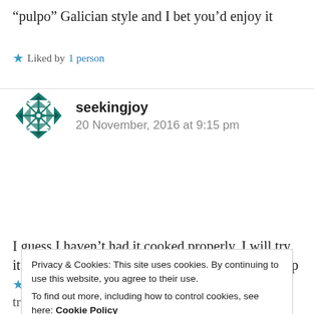“pulpo” Galician style and I bet you’d enjoy it
★ Liked by 1 person
seekingjoy
20 November, 2016 at 9:15 pm
I guess I haven’t had it cooked properly. I will try it again but oysters are more my thing. And shrimp
★ Liked by 1 person
Privacy & Cookies: This site uses cookies. By continuing to use this website, you agree to their use.
To find out more, including how to control cookies, see here: Cookie Policy
Close and accept
true.... but, if you ever come to Spain, don’t forget